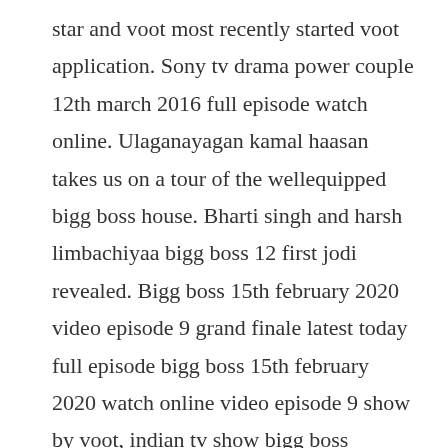star and voot most recently started voot application. Sony tv drama power couple 12th march 2016 full episode watch online. Ulaganayagan kamal haasan takes us on a tour of the wellequipped bigg boss house. Bharti singh and harsh limbachiyaa bigg boss 12 first jodi revealed. Bigg boss 15th february 2020 video episode 9 grand finale latest today full episode bigg boss 15th february 2020 watch online video episode 9 show by voot, indian tv show bigg boss complete hindi show latest episodes in hd, watch bigg boss 15 february